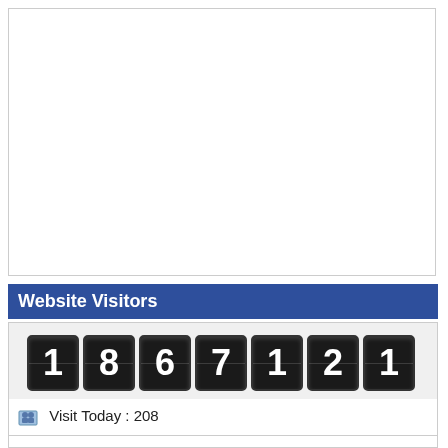[Figure (other): Empty white box area at top]
Website Visitors
[Figure (other): Odometer-style visitor counter showing 1867121]
| Visit Today : 208 |
| Visit Yesterday : 339 |
| This Month : 8780 |
| This Year : 93817 |
| Total Visit : 1867121 |
| Hits Today : 2082 |
| Total Hits : 1764033 |
| Who's Online : 14 |